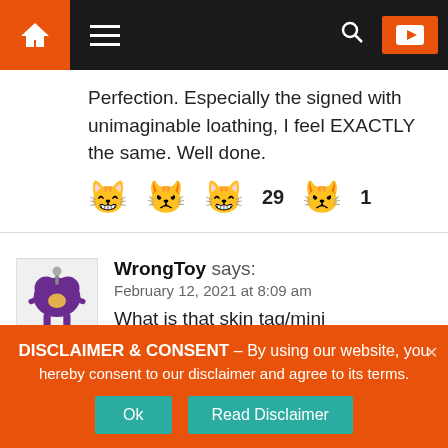Navigation bar with home icon, hamburger menu, search icon, YouTube button
Perfection. Especially the signed with unimaginable loathing, I feel EXACTLY the same. Well done.
[Figure (other): Emoji reaction row: cat face emoji, cat face emoji, cat face smiling emoji, 29, cat face emoji, 1]
[Figure (illustration): WrongToy avatar: purple heart with legs illustration]
WrongToy says:
February 12, 2021 at 8:09 am
What is that skin tag/mini peen/booger thing (but clearly it's live skin of some
DISCLAIMER & CONSENT – By using our website, you hereby consent to our disclaimer and agree to its terms.